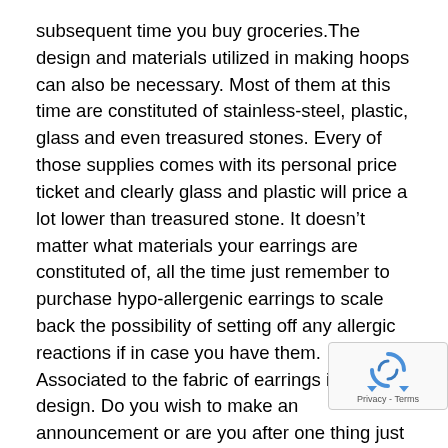subsequent time you buy groceries.The design and materials utilized in making hoops can also be necessary. Most of them at this time are constituted of stainless-steel, plastic, glass and even treasured stones. Every of those supplies comes with its personal price ticket and clearly glass and plastic will price a lot lower than treasured stone. It doesn't matter what materials your earrings are constituted of, all the time just remember to purchase hypo-allergenic earrings to scale back the possibility of setting off any allergic reactions if in case you have them. Associated to the fabric of earrings is the design. Do you wish to make an announcement or are you after one thing just a little extra conservative? There are such a lot of manufacturers in the marketplace at this time that you shouldn't have any hassle discovering one thing that fits your tastes.
The ultimate level is that of all the time think about the life you reside. Since hoops may be massive and dang your ear, this may truly have an effect in your life-style. Are you
[Figure (other): reCAPTCHA widget overlay showing circular arrow icon and Privacy - Terms text]